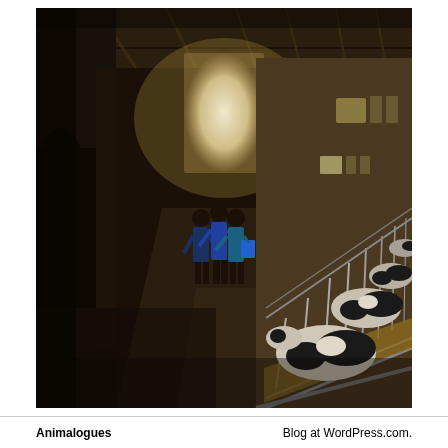[Figure (photo): Interior of a dairy barn. Three people are standing in the center aisle, silhouetted against a bright open doorway at the far end of the barn. On the right side, Holstein cows (black and white) are lined up in stalls behind metal railings, eating hay. The barn has a dark, earthy atmosphere with a concrete floor and a structural roof overhead.]
Animalogues    Blog at WordPress.com.